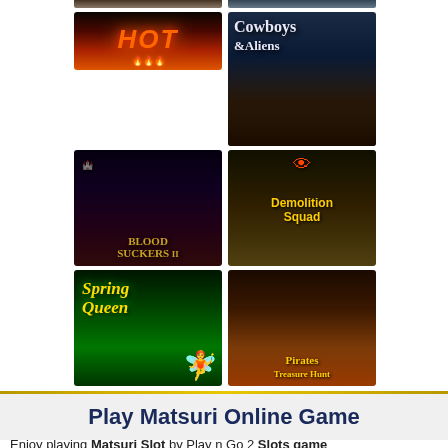[Figure (screenshot): Partial game thumbnail at top left - partially visible slot game image]
[Figure (screenshot): Partial game thumbnail at top right - partially visible slot game image]
[Figure (screenshot): HOT slot game thumbnail with orange fire logo on dark background]
[Figure (screenshot): Cowboys and Aliens slot game thumbnail with fantasy themed artwork]
[Figure (screenshot): Blood Suckers slot game thumbnail with gothic vampire themed artwork]
[Figure (screenshot): Demolition Squad slot game thumbnail with animated cartoon characters]
[Figure (screenshot): Spring Queen slot game thumbnail with green nature themed artwork and fairy character]
[Figure (screenshot): Pirates Treasure Hunt slot game thumbnail with pirate and dragon themed artwork]
Play Matsuri Online Game
Enjoy playing Matsuri Slot by Play n Go 2 Slots games